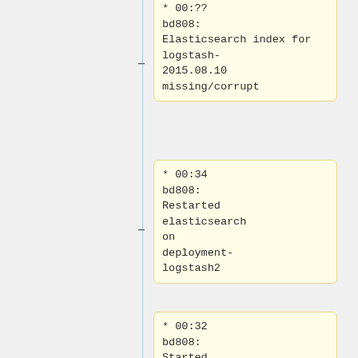* 00:?? bd808: Elasticsearch index for logstash-2015.08.10 missing/corrupt
* 00:34 bd808: Restarted elasticsearch on deployment-logstash2
* 00:32 bd808: Started logstash on deployment-logstash2;